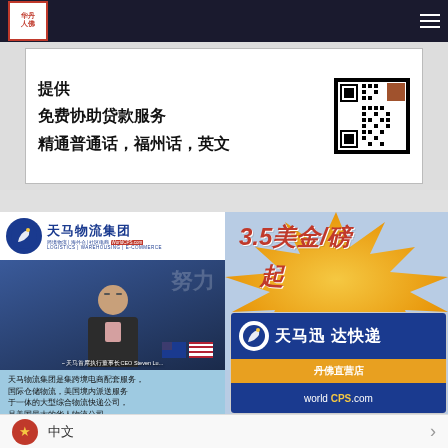华丹佛人 (Logo) | Navigation Menu
[Figure (infographic): Advertisement banner with Chinese text: 提供 免费协助贷款服务 精通普通话，福州话，英文 with a QR code on the right side]
[Figure (infographic): 天马物流集团 (Tianma Logistics Group) advertisement. Left side shows company logo, photo of CEO Steven Lu with Chinese and American flags, company description text in Chinese. Right side shows orange burst background with price '3.5美金/磅起', 天马迅达快递 delivery service box with 丹佛直营店 and worldCPS.com branding]
中文 (Chinese flag icon) > language selector